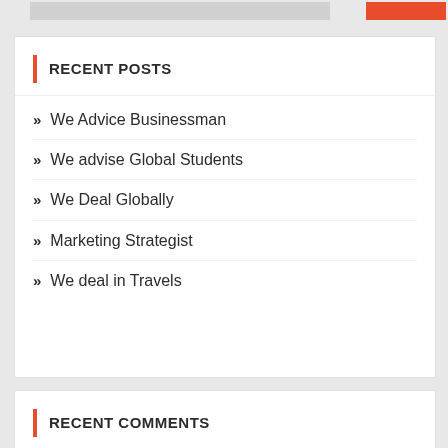RECENT POSTS
We Advice Businessman
We advise Global Students
We Deal Globally
Marketing Strategist
We deal in Travels
RECENT COMMENTS